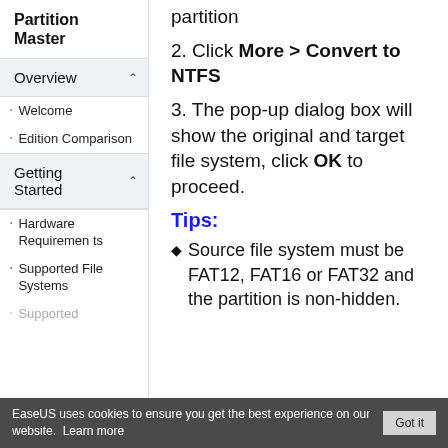Partition Master
Overview
Welcome
Edition Comparison
Getting Started
Hardware Requirements
Supported File Systems
Supported
partition
2. Click More > Convert to NTFS
3. The pop-up dialog box will show the original and target file system, click OK to proceed.
Tips:
Source file system must be FAT12, FAT16 or FAT32 and the partition is non-hidden.
EaseUS uses cookies to ensure you get the best experience on our website.  Learn more   Got it